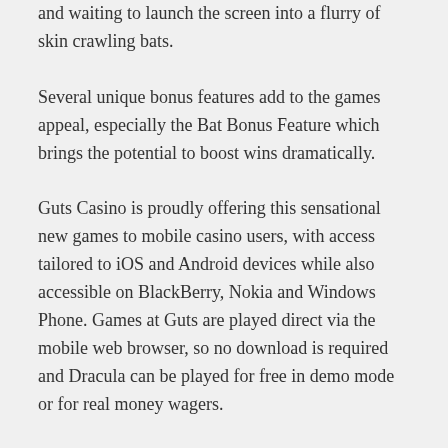and waiting to launch the screen into a flurry of skin crawling bats.
Several unique bonus features add to the games appeal, especially the Bat Bonus Feature which brings the potential to boost wins dramatically.
Guts Casino is proudly offering this sensational new games to mobile casino users, with access tailored to iOS and Android devices while also accessible on BlackBerry, Nokia and Windows Phone. Games at Guts are played direct via the mobile web browser, so no download is required and Dracula can be played for free in demo mode or for real money wagers.
New users at Guts receive 15 free spins simply for registering, with an additional $300 in welcome bonuses up for grabs when making your first real money deposit. After you've tried your luck at Dracula, you can choose from many other popular Guts mobile casino titles.